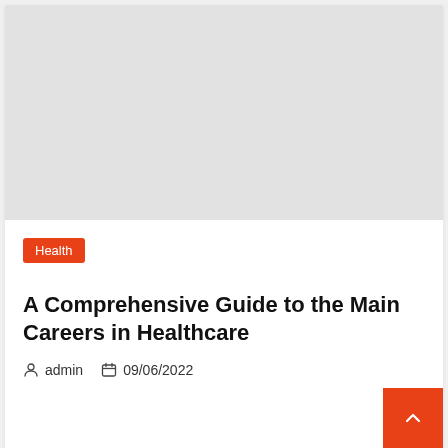[Figure (photo): Light gray placeholder image for article header]
Health
A Comprehensive Guide to the Main Careers in Healthcare
admin   09/06/2022